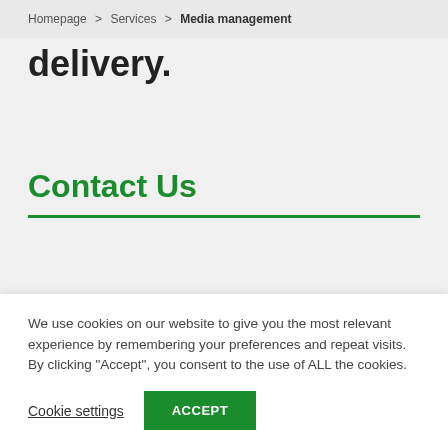Homepage > Services > Media management
delivery.
Contact Us
[Figure (photo): Photo of a man in glasses wearing a dark jacket, standing in front of a brown brick wall with warm lighting on the right side]
We use cookies on our website to give you the most relevant experience by remembering your preferences and repeat visits. By clicking “Accept”, you consent to the use of ALL the cookies.
Cookie settings  ACCEPT